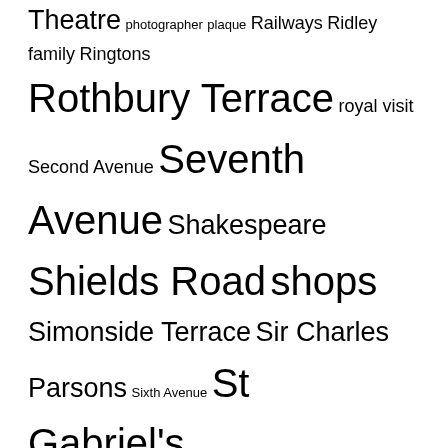Theatre photographer plaque Railways Ridley family Ringtons Rothbury Terrace royal visit Second Avenue Seventh Avenue Shakespeare Shields Road shops Simonside Terrace Sir Charles Parsons Sixth Avenue St Gabriel's Stratford Grove Stratford Villas Tenth Avenue Third Avenue Tosson Terrace Tynemouth Road Warton Terrace Warwick Street William Armstrong WW1 ww2
Heaton History Group on Twitter
RT @neheritagelib: This fenced off industrial land was Newcastle United's ground under the guise of East End before they moved into West En… 1 week ago
Plaque on the Heaton house where John Gilroy grew up.